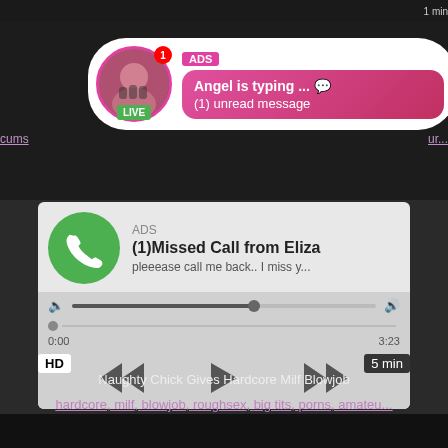[Figure (screenshot): Adult content website screenshot showing ads and video thumbnails. Top ad shows a chat notification bubble with avatar, 'LIVE' badge, 'ADS' label, 'Angel is typing ... 💬' and '(1) unread message'. Second ad shows a phone call notification: 'ADS', '(1)Missed Call from Eliza', 'pleeease call me back.. I miss y...' with audio player controls showing 0:00 and 3:23 timestamps. Video has HD badge and '5 min' label.]
Naughty Chick Gives Hardcore Milf Blowjob
hardcore, milf, blowjob, roughsex, big tits, porns, amateu...